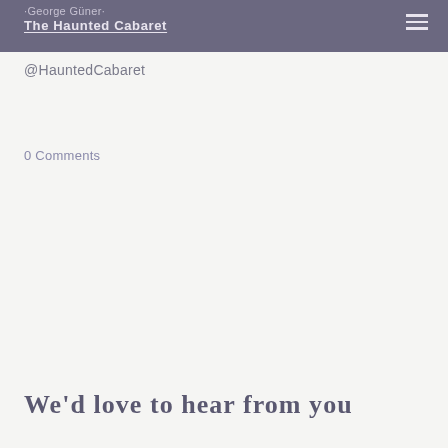George Güner
The Haunted Cabaret
@HauntedCabaret
0 Comments
We'd love to hear from you